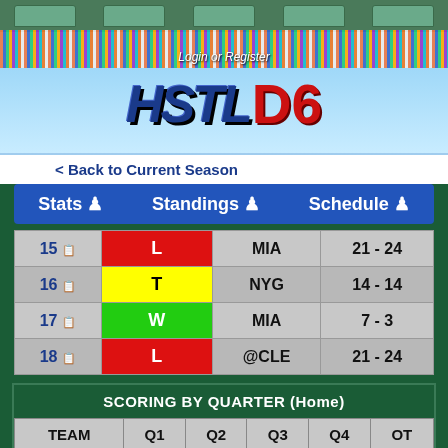[Figure (screenshot): HSTL D6 fantasy football league website banner with stadium crowd background, logo showing HSTL D6]
Login or Register
< Back to Current Season
Stats | Standings | Schedule
| Week | Result | Opponent | Score |
| --- | --- | --- | --- |
| 15 | L | MIA | 21 - 24 |
| 16 | T | NYG | 14 - 14 |
| 17 | W | MIA | 7 - 3 |
| 18 | L | @CLE | 21 - 24 |
| TEAM | Q1 | Q2 | Q3 | Q4 | OT |
| --- | --- | --- | --- | --- | --- |
| NYJ | 56 | 51 | 35 | 41 | 0 |
| OPP | 14 | 45 | 42 | 56 | 5 |